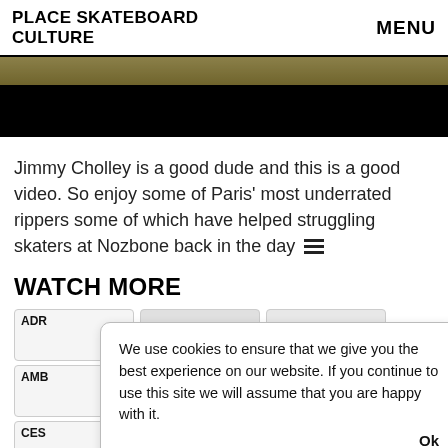PLACE SKATEBOARD CULTURE | MENU
[Figure (photo): Hero image showing a skate spot, partially visible strip at top with gold/tan color, rest black]
Jimmy Cholley is a good dude and this is a good video. So enjoy some of Paris' most underrated rippers some of which have helped struggling skaters at Nozbone back in the day [hamburger icon]
WATCH MORE
ADR
AMB
CES
We use cookies to ensure that we give you the best experience on our website. If you continue to use this site we will assume that you are happy with it. Ok